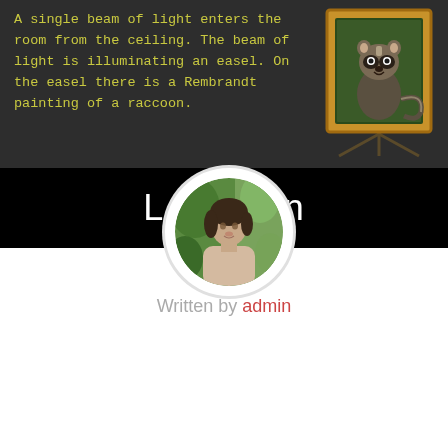A single beam of light enters the room from the ceiling. The beam of light is illuminating an easel. On the easel there is a Rembrandt painting of a raccoon.
[Figure (photo): A painting or figurine of a raccoon displayed on an easel, with a gold frame, set against a dark background.]
[Figure (photo): A dark banner/header area with white text reading 'Lorem' partially visible behind a circular profile photo of a young woman outdoors.]
[Figure (photo): Circular profile photo of a young woman with dark hair, wearing a light beige top, standing outdoors with green foliage in the background.]
Written by admin